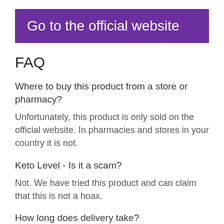[Figure (other): Purple banner button with white text reading 'Go to the official website']
FAQ
Where to buy this product from a store or pharmacy?
Unfortunately, this product is only sold on the official website. In pharmacies and stores in your country it is not.
Keto Level - Is it a scam?
Not. We have tried this product and can claim that this is not a hoax.
How long does delivery take?